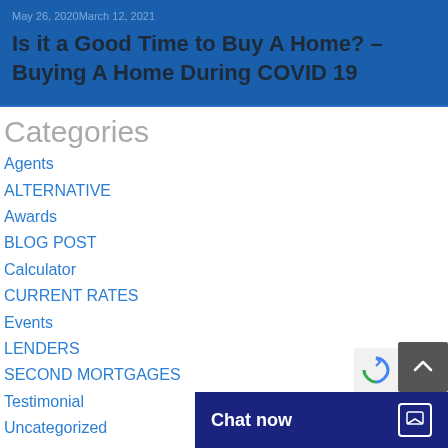May 26, 2020March 12, 2021
Is it a Good Time to Buy A Home? – Buying A Home During COVID 19
Categories
Agents
ALTERNATIVE
Awards
BLOG POST
Calculator
CURRENT RATES
Events
LENDERS
SECOND MORTGAGES
Testimonial
Uncategorized
Meta